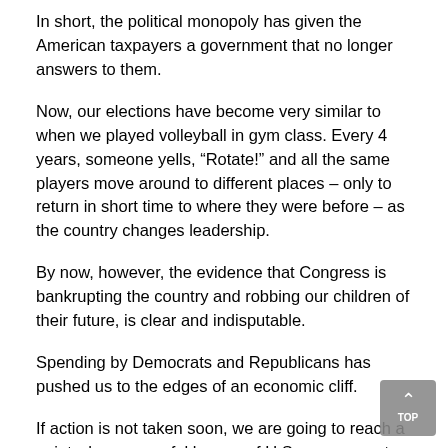In short, the political monopoly has given the American taxpayers a government that no longer answers to them.
Now, our elections have become very similar to when we played volleyball in gym class. Every 4 years, someone yells, “Rotate!” and all the same players move around to different places – only to return in short time to where they were before – as the country changes leadership.
By now, however, the evidence that Congress is bankrupting the country and robbing our children of their future, is clear and indisputable.
Spending by Democrats and Republicans has pushed us to the edges of an economic cliff.
If action is not taken soon, we are going to reach a point where powerful buyers of U.S. government-issued debt are going to be able to influence or manipulate our policies and economy.